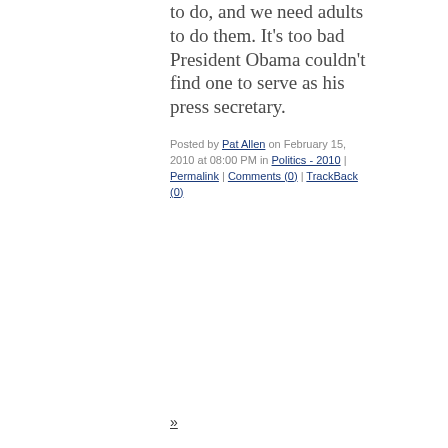to do, and we need adults to do them. It's too bad President Obama couldn't find one to serve as his press secretary.
Posted by Pat Allen on February 15, 2010 at 08:00 PM in Politics - 2010 | Permalink | Comments (0) | TrackBack (0)
»